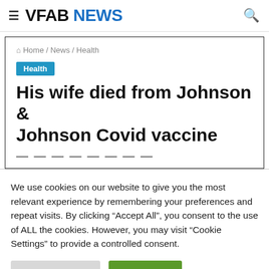VFAB NEWS
Home / News / Health
Health
His wife died from Johnson & Johnson Covid vaccine
We use cookies on our website to give you the most relevant experience by remembering your preferences and repeat visits. By clicking "Accept All", you consent to the use of ALL the cookies. However, you may visit "Cookie Settings" to provide a controlled consent.
Cookie Settings | Accept All